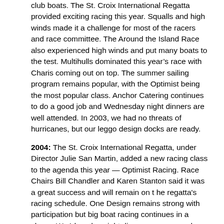club boats. The St. Croix International Regatta provided exciting racing this year. Squalls and high winds made it a challenge for most of the racers and race committee. The Around the Island Race also experienced high winds and put many boats to the test. Multihulls dominated this year's race with Charis coming out on top. The summer sailing program remains popular, with the Optimist being the most popular class. Anchor Catering continues to do a good job and Wednesday night dinners are well attended. In 2003, we had no threats of hurricanes, but our leggo design docks are ready.
2004: The St. Croix International Regatta, under Director Julie San Martin, added a new racing class to the agenda this year — Optimist Racing. Race Chairs Bill Chandler and Karen Stanton said it was a great success and will remain on t he regatta's racing schedule. One Design remains strong with participation but big boat racing continues in a slump. We4dnesday night dinners are as popular as ever. The Board voted to raise the dues for 2005. The "Lego" docks went into action this year, spurred by Hurricane Ivan. The docks remained out of the water until storm activity dies in the Atlantic. A water-skiing Santa (Jim Lehman) was a first for Santa Arriving at the Yacht Club. It was a big hit with the kids and their parents. At the Hop, the eighth